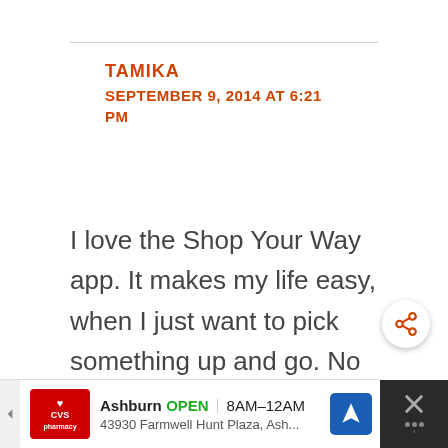TAMIKA
SEPTEMBER 9, 2014 AT 6:21 PM
I love the Shop Your Way app. It makes my life easy, when I just want to pick something up and go. No more lines. This is my kind of shopping.
[Figure (screenshot): Share/social button icon in bottom right of comment area]
[Figure (screenshot): CVS Pharmacy advertisement banner showing Ashburn location, OPEN 8AM-12AM, 43930 Farmwell Hunt Plaza, Ash...]